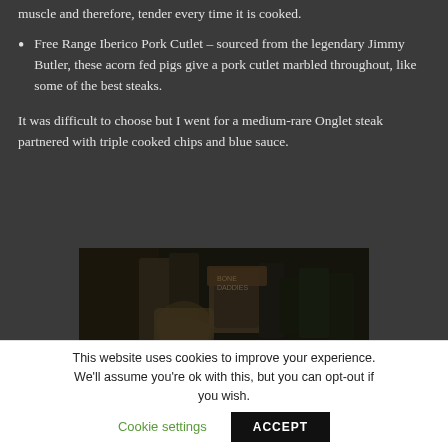muscle and therefore, tender every time it is cooked.
Free Range Iberico Pork Cutlet – sourced from the legendary Jimmy Butler, these acorn fed pigs give a pork cutlet marbled throughout, like some of the best steaks.
It was difficult to choose but I went for a medium-rare Onglet steak partnered with triple cooked chips and blue sauce.
[Figure (photo): Dark photograph showing bottles and jars on a table in dim lighting]
This website uses cookies to improve your experience. We'll assume you're ok with this, but you can opt-out if you wish. Cookie settings ACCEPT